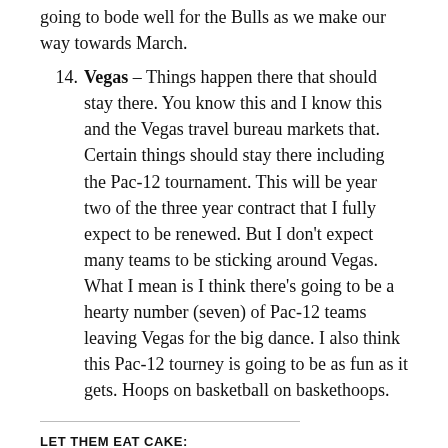going to bode well for the Bulls as we make our way towards March.
Vegas – Things happen there that should stay there. You know this and I know this and the Vegas travel bureau markets that. Certain things should stay there including the Pac-12 tournament. This will be year two of the three year contract that I fully expect to be renewed. But I don't expect many teams to be sticking around Vegas. What I mean is I think there's going to be a hearty number (seven) of Pac-12 teams leaving Vegas for the big dance. I also think this Pac-12 tourney is going to be as fun as it gets. Hoops on basketball on baskethoops.
LET THEM EAT CAKE:
[Figure (infographic): Row of five social media sharing icon circles: Facebook (blue), Twitter (light blue), Reddit (light blue/white), Tumblr (dark navy), Email (light gray)]
View all 4 comments